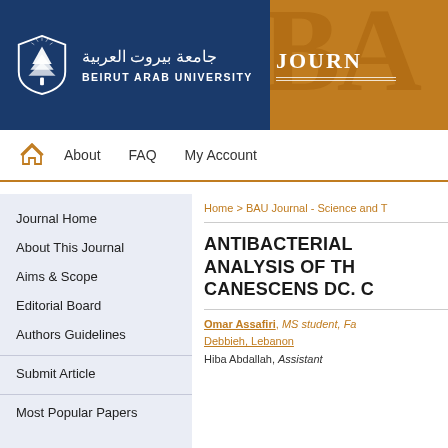[Figure (logo): Beirut Arab University logo with Arabic text and shield emblem on dark blue background, with orange BAU JOURNAL header panel]
Home icon | About  FAQ  My Account
Journal Home
About This Journal
Aims & Scope
Editorial Board
Authors Guidelines
Submit Article
Most Popular Papers
Home > BAU Journal - Science and T
ANTIBACTERIAL ANALYSIS OF TH CANESCENS DC. C
Omar Assafiri, MS student, Fa Debbieh, Lebanon Hiba Abdallah, Assistant